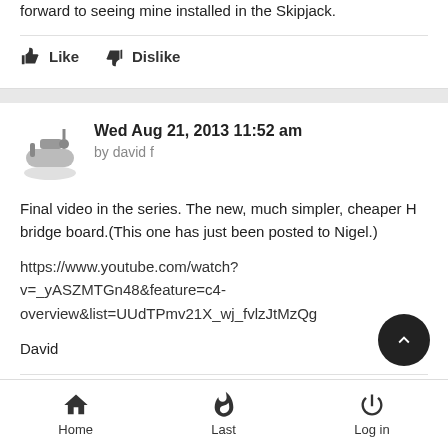forward to seeing mine installed in the Skipjack.
Like  Dislike
Wed Aug 21, 2013 11:52 am
by david f
Final video in the series. The new, much simpler, cheaper H bridge board.(This one has just been posted to Nigel.)

https://www.youtube.com/watch?v=_yASZMTGn48&feature=c4-overview&list=UUdTPmv21X_wj_fvlzJtMzQg

David
Like  Dislike
Home  Last  Log in